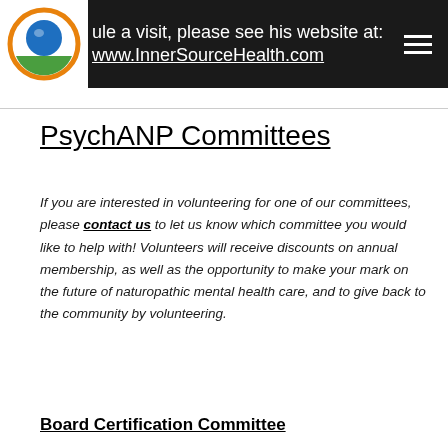ule a visit, please see his website at: www.InnerSourceHealth.com
PsychANP Committees
If you are interested in volunteering for one of our committees, please contact us to let us know which committee you would like to help with! Volunteers will receive discounts on annual membership, as well as the opportunity to make your mark on the future of naturopathic mental health care, and to give back to the community by volunteering.
Board Certification Committee